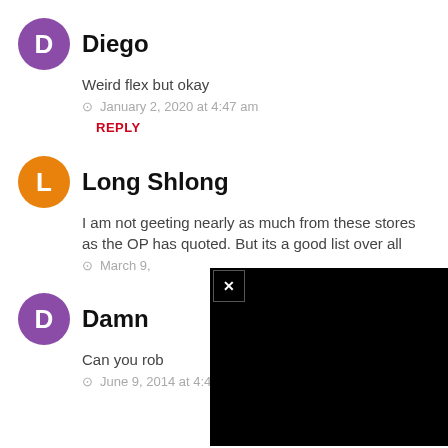Diego
Weird flex but okay
January 2, 2020 at 4:47 am
REPLY
Long Shlong
I am not geeting nearly as much from these stores as the OP has quoted. But its a good list over all
March 9,
Damn
Can you rob
June 9, 2014 at 4:40 am
REPLY